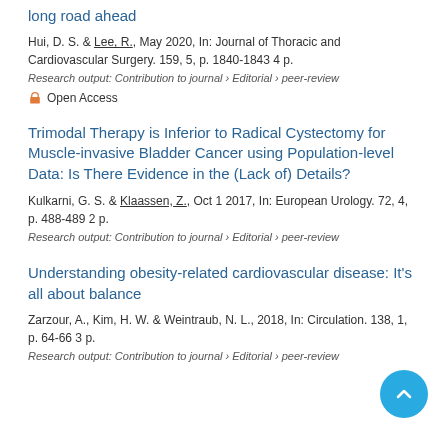long road ahead
Hui, D. S. & Lee, R., May 2020, In: Journal of Thoracic and Cardiovascular Surgery. 159, 5, p. 1840-1843 4 p.
Research output: Contribution to journal › Editorial › peer-review
Open Access
Trimodal Therapy is Inferior to Radical Cystectomy for Muscle-invasive Bladder Cancer using Population-level Data: Is There Evidence in the (Lack of) Details?
Kulkarni, G. S. & Klaassen, Z., Oct 1 2017, In: European Urology. 72, 4, p. 488-489 2 p.
Research output: Contribution to journal › Editorial › peer-review
Understanding obesity-related cardiovascular disease: It's all about balance
Zarzour, A., Kim, H. W. & Weintraub, N. L., 2018, In: Circulation. 138, 1, p. 64-66 3 p.
Research output: Contribution to journal › Editorial › peer-review